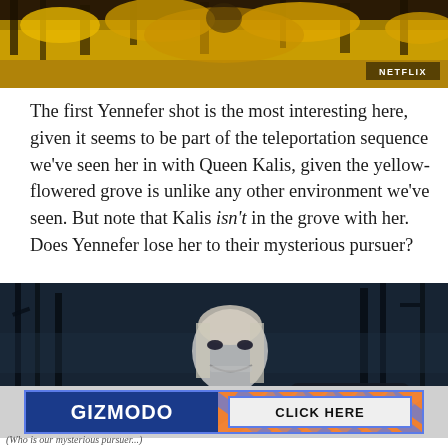[Figure (photo): Still from The Witcher showing yellow-flowered grove, NETFLIX watermark in bottom right]
The first Yennefer shot is the most interesting here, given it seems to be part of the teleportation sequence we’ve seen her in with Queen Kalis, given the yellow-flowered grove is unlike any other environment we’ve seen. But note that Kalis isn’t in the grove with her. Does Yennefer lose her to their mysterious pursuer?
[Figure (photo): Still from The Witcher showing a pale, sinister smiling figure with dark armour in a dark forest, NETFLIX watermark partially visible]
[Figure (other): Gizmodo advertisement banner with blue border, GIZMODO text on left, CLICK HERE button on right with diagonal stripe pattern background]